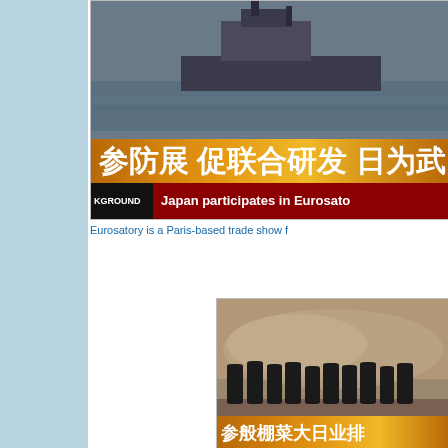[Figure (screenshot): Screenshot of a news broadcast showing a naval ship with Chinese text banner reading '参防展 促联合研发 日为武' and English subtitle 'Japan participates in Eurosato']
Eurosatory is a Paris-based trade show f
[Figure (screenshot): Screenshot of a news broadcast showing soldiers silhouettes walking in a dusty/smoky environment with a Chinese text orange banner at the bottom]